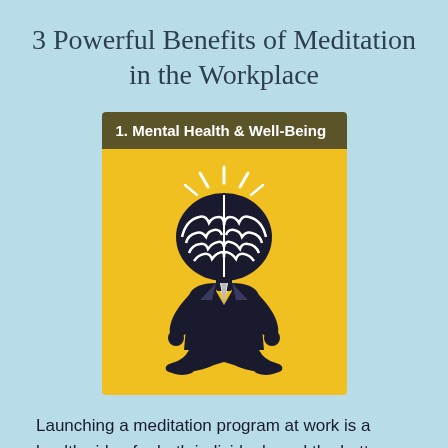3 Powerful Benefits of Meditation in the Workplace
[Figure (illustration): Yellow card with dark olive header reading '1. Mental Health & Well-Being'. Card body shows a meditating businessman icon with a brain as the head, glowing/radiating lines above the brain, wearing a suit and tie, seated in lotus position.]
Launching a meditation program at work is a healthy idea for both individuals and the bottom line. Here are